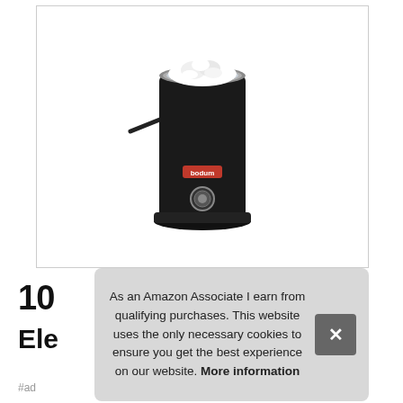[Figure (photo): A Bodum electric milk frother/heater in black with stainless steel rim, containing frothy white milk foam at the top. The device has a red Bodum logo label and a circular button on its base.]
10
Ele
As an Amazon Associate I earn from qualifying purchases. This website uses the only necessary cookies to ensure you get the best experience on our website. More information
#ad